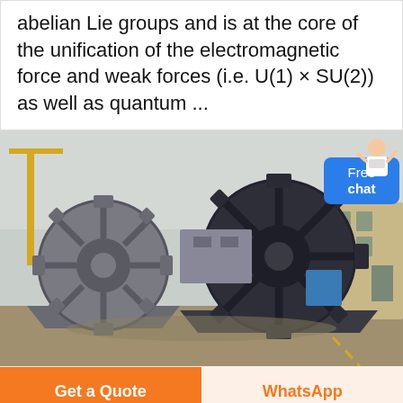abelian Lie groups and is at the core of the unification of the electromagnetic force and weak forces (i.e. U(1) × SU(2)) as well as quantum ...
[Figure (photo): Two large industrial gear-wheel/bucket wheel machines (dark grey/black in color) on a concrete outdoor yard, with industrial buildings and a crane visible in the background. A 'Free chat' button overlay appears in the upper right corner with a customer service avatar above it.]
Get a Quote
WhatsApp